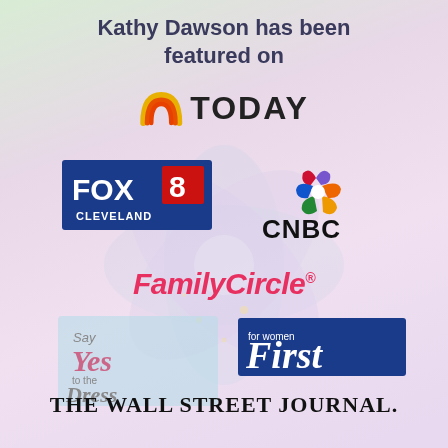Kathy Dawson has been featured on
[Figure (logo): TODAY show logo with rainbow arc icon]
[Figure (logo): FOX 8 Cleveland logo - blue and red box]
[Figure (logo): CNBC logo with NBC peacock icon]
[Figure (logo): FamilyCircle magazine logo in pink italic]
[Figure (logo): First for women magazine logo - blue background]
[Figure (logo): Say Yes to the Dress TV show logo]
[Figure (logo): The Wall Street Journal logo]